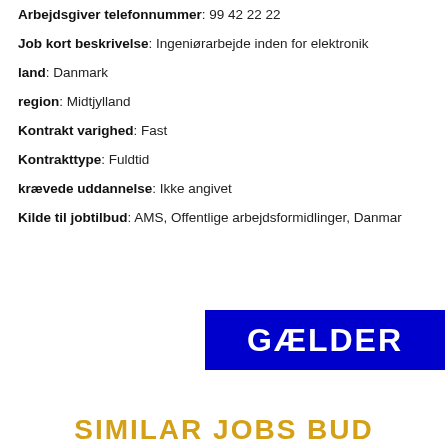Arbejdsgiver telefonnummer: 99 42 22 22
Job kort beskrivelse: Ingeniørarbejde inden for elektronik
land: Danmark
region: Midtjylland
Kontrakt varighed: Fast
Kontrakttype: Fuldtid
krævede uddannelse: Ikke angivet
Kilde til jobtilbud: AMS, Offentlige arbejdsformidlinger, Danmark
[Figure (other): Blue banner with white bold text reading GÆLDER]
SIMILAR JOBS BUD